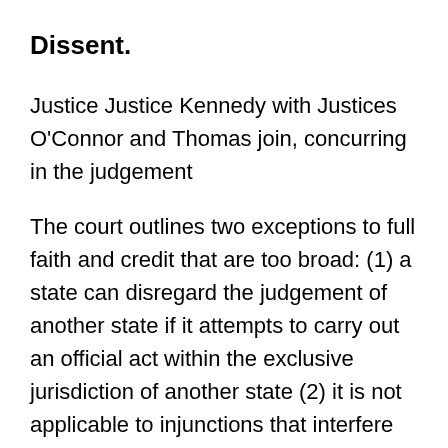Dissent.
Justice Justice Kennedy with Justices O'Connor and Thomas join, concurring in the judgement
The court outlines two exceptions to full faith and credit that are too broad: (1) a state can disregard the judgement of another state if it attempts to carry out an official act within the exclusive jurisdiction of another state (2) it is not applicable to injunctions that interfere with litigation over which the ordering court has no authority. The majority could have more simply reached the same conclusion by holding that Plaintiff Bakers were not parties in the first suit and were therefore not